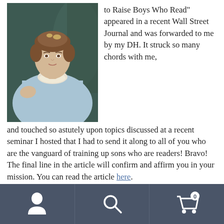[Figure (photo): Portrait painting of a young woman in early 19th-century dress — light blue dress with white lace collar, hair styled up, seated with one arm resting, painted in oil style against a dark greenish background.]
to Raise Boys Who Read” appeared in a recent Wall Street Journal and was forwarded to me by my DH. It struck so many chords with me, and touched so astutely upon topics discussed at a recent seminar I hosted that I had to send it along to all of you who are the vanguard of training up sons who are readers! Bravo! The final line in the article will confirm and affirm you in your mission. You can read the article here.
By way of commentary, I must relate a personal incident that proves the article’s thesis in a way that came home to me a few years ago. My eldest son was studying architecture for a year in Florence, Italy. His first few
[Figure (other): Mobile navigation bar with three icon buttons: user/profile icon, search (magnifying glass) icon, and shopping cart icon with badge showing 0.]